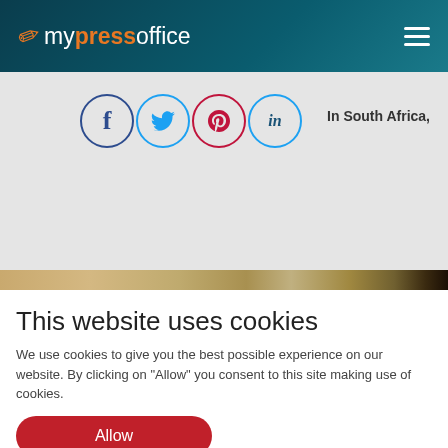mypressoffice
[Figure (screenshot): Social media icons: Facebook, Twitter, Pinterest, LinkedIn in circles. Text 'In South Africa,' visible on the right.]
This website uses cookies
We use cookies to give you the best possible experience on our website. By clicking on "Allow" you consent to this site making use of cookies.
Allow